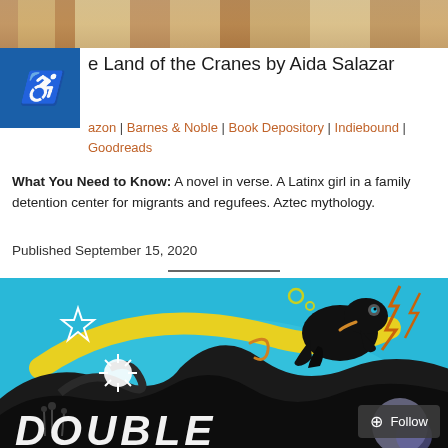[Figure (photo): Top portion of a photo, appears to show feet/legs with soccer-related imagery]
e Land of the Cranes by Aida Salazar
azon | Barnes & Noble | Book Depository | Indiebound | Goodreads
What You Need to Know: A novel in verse. A Latinx girl in a family detention center for migrants and regufees. Aztec mythology.
Published September 15, 2020
[Figure (illustration): Book cover illustration with turquoise/blue background, black frog leaping, yellow swoosh, star, white starburst, lightning bolts, swirling black shapes, and partial white text reading DOUBLE at the bottom]